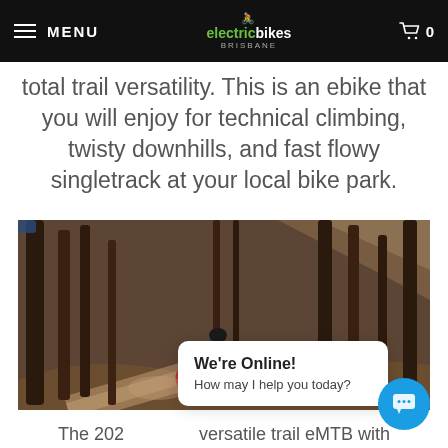MENU | electricbikes (logo) | 0 (cart)
total trail versatility. This is an ebike that you will enjoy for technical climbing, twisty downhills, and fast flowy singletrack at your local bike park.
[Figure (photo): A mountain biker riding fast on a dusty singletrack trail through a dense forest of tall pine trees.]
The 202 versatile trail eMTB with
We're Online! How may I help you today?